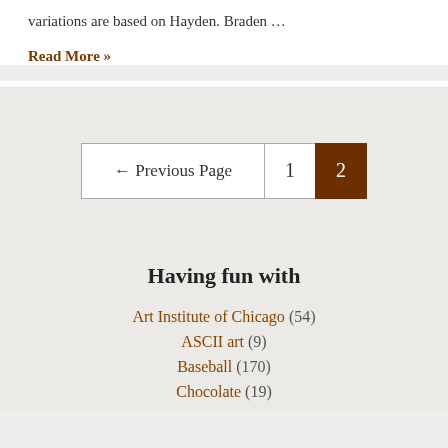variations are based on Hayden. Braden …
Read More »
← Previous Page  1  2
Having fun with
Art Institute of Chicago (54)
ASCII art (9)
Baseball (170)
Chocolate (19)